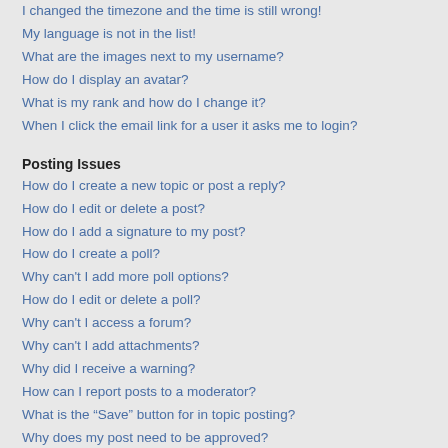I changed the timezone and the time is still wrong!
My language is not in the list!
What are the images next to my username?
How do I display an avatar?
What is my rank and how do I change it?
When I click the email link for a user it asks me to login?
Posting Issues
How do I create a new topic or post a reply?
How do I edit or delete a post?
How do I add a signature to my post?
How do I create a poll?
Why can't I add more poll options?
How do I edit or delete a poll?
Why can't I access a forum?
Why can't I add attachments?
Why did I receive a warning?
How can I report posts to a moderator?
What is the “Save” button for in topic posting?
Why does my post need to be approved?
How do I bump my topic?
Formatting and Topic Types
What is BBCode?
Can I use HTML?
What are Smilies?
Can I post images?
What are global announcements?
What are announcements?